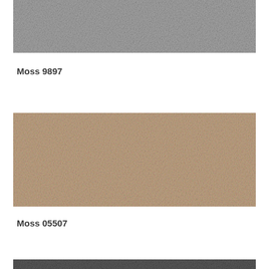[Figure (photo): Fabric swatch sample showing a light gray textured material, partially cropped at top of page]
Moss 9897
[Figure (photo): Fabric swatch sample showing a warm beige/taupe textured material]
Moss 05507
[Figure (photo): Fabric swatch sample showing a dark charcoal textured material, partially cropped at bottom of page]